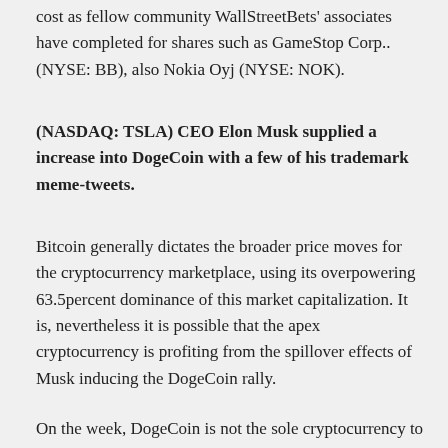cost as fellow community WallStreetBets' associates have completed for shares such as GameStop Corp.. (NYSE: BB), also Nokia Oyj (NYSE: NOK).
(NASDAQ: TSLA) CEO Elon Musk supplied a increase into DogeCoin with a few of his trademark meme-tweets.
Bitcoin generally dictates the broader price moves for the cryptocurrency marketplace, using its overpowering 63.5percent dominance of this market capitalization. It is, nevertheless it is possible that the apex cryptocurrency is profiting from the spillover effects of Musk inducing the DogeCoin rally.
On the week, DogeCoin is not the sole cryptocurrency to outperform Bitcoin, together with